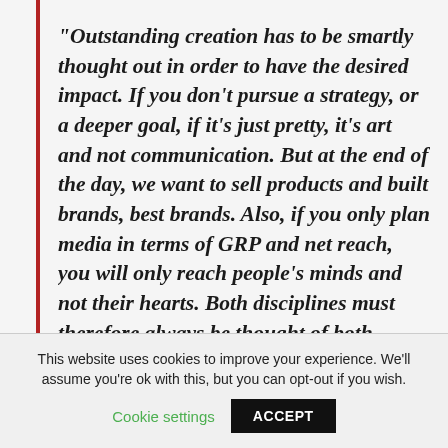“Outstanding creation has to be smartly thought out in order to have the desired impact. If you don’t pursue a strategy, or a deeper goal, if it’s just pretty, it’s art and not communication. But at the end of the day, we want to sell products and built brands, best brands. Also, if you only plan media in terms of GRP and net reach, you will only reach people’s minds and not their hearts. Both disciplines must therefore always be thought of both strategically and creatively. Our
This website uses cookies to improve your experience. We’ll assume you’re ok with this, but you can opt-out if you wish.
Cookie settings
ACCEPT